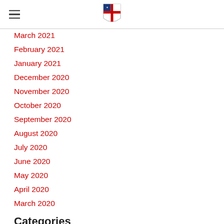[Episcopal Church logo shield]
March 2021
February 2021
January 2021
December 2020
November 2020
October 2020
September 2020
August 2020
July 2020
June 2020
May 2020
April 2020
March 2020
Categories
All
RSS Feed